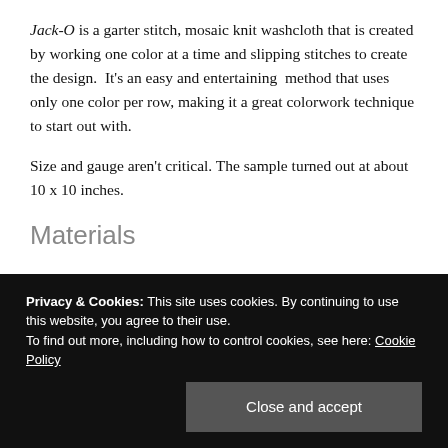Jack-O is a garter stitch, mosaic knit washcloth that is created by working one color at a time and slipping stitches to create the design.  It's an easy and entertaining  method that uses only one color per row, making it a great colorwork technique to start out with.
Size and gauge aren't critical. The sample turned out at about 10 x 10 inches.
Materials
Privacy & Cookies: This site uses cookies. By continuing to use this website, you agree to their use.
To find out more, including how to control cookies, see here: Cookie Policy